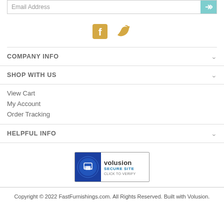Email Address
[Figure (illustration): Social media icons: Facebook (gold/orange) and Twitter (teal/gold)]
COMPANY INFO
SHOP WITH US
View Cart
My Account
Order Tracking
HELPFUL INFO
[Figure (logo): SSL Volusion Secure Site - Click to Verify badge]
Copyright © 2022 FastFurnishings.com. All Rights Reserved. Built with Volusion.